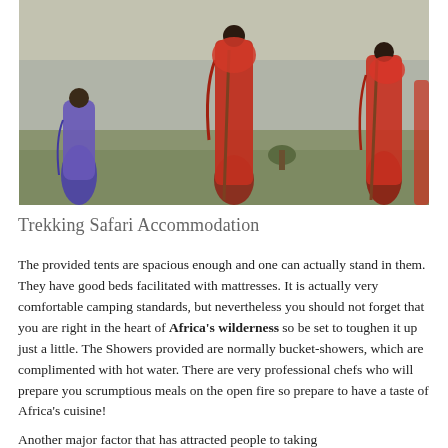[Figure (photo): Maasai people in traditional red and blue robes standing near a body of water on grassy ground. Three figures visible, one on the left in blue, two on the right in red.]
Trekking Safari Accommodation
The provided tents are spacious enough and one can actually stand in them. They have good beds facilitated with mattresses. It is actually very comfortable camping standards, but nevertheless you should not forget that you are right in the heart of Africa's wilderness so be set to toughen it up just a little. The Showers provided are normally bucket-showers, which are complimented with hot water. There are very professional chefs who will prepare you scrumptious meals on the open fire so prepare to have a taste of Africa's cuisine!
Another major factor that has attracted people to taking